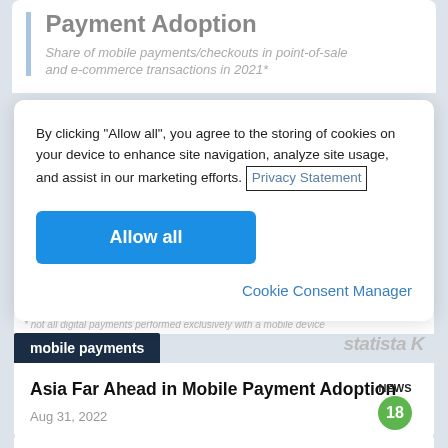Payment Adoption
Share of mobile payments/checkouts in point-of-sale and e-commerce transactions in 2021*
By clicking “Allow all”, you agree to the storing of cookies on your device to enhance site navigation, analyze site usage, and assist in our marketing efforts. Privacy Statement
Allow all
Cookie Consent Manager
* not all digital payments performed exclusively with a mobile device
mobile payments
Asia Far Ahead in Mobile Payment Adoption
Aug 31, 2022
NEWS 18